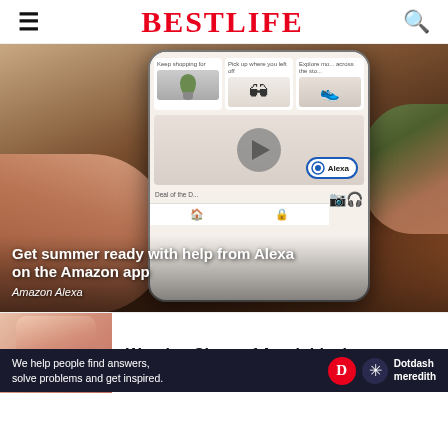BESTLIFE
[Figure (photo): Smartphone showing Amazon app with product recommendations including a plant, sunglasses, and sneakers, with a play button overlay and Alexa button. Hand holding phone. Hero image with overlay text.]
Get summer ready with help from Alexa on the Amazon app
Amazon Alexa
[Figure (photo): Thumbnail of hands/arm for Warning Signs of Amyloidosis article]
Warning Signs of Amyloidosis
We help people find answers, solve problems and get inspired.
[Figure (logo): Dotdash Meredith logo with red D circle and snowflake icon]